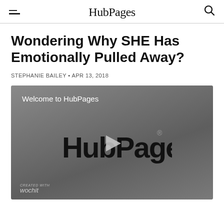HubPages
Wondering Why SHE Has Emotionally Pulled Away?
STEPHANIE BAILEY • APR 13, 2018
[Figure (screenshot): Video thumbnail showing HubPages logo with play button and text 'Welcome to HubPages'. Gray background with wochit branding at bottom left.]